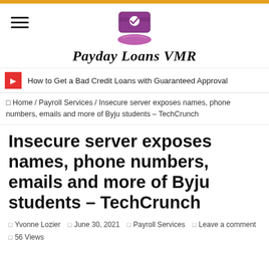[Figure (logo): Payday Loans VMR logo with a hand holding a card/money icon above the text]
How to Get a Bad Credit Loans with Guaranteed Approval
Home / Payroll Services / Insecure server exposes names, phone numbers, emails and more of Byju students – TechCrunch
Insecure server exposes names, phone numbers, emails and more of Byju students – TechCrunch
Yvonne Lozier  June 30, 2021  Payroll Services  Leave a comment  56 Views